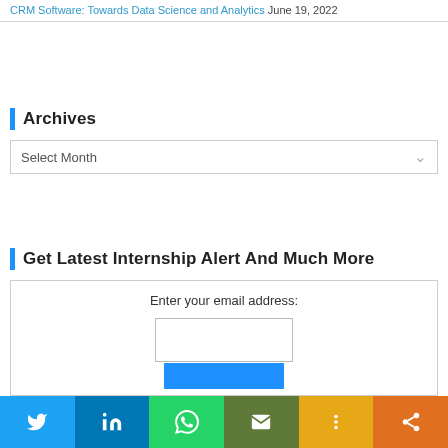CRM Software: Towards Data Science and Analytics  June 19, 2022
Archives
[Figure (other): Dropdown select box labeled 'Select Month' with a downward chevron arrow]
Get Latest Internship Alert And Much More
[Figure (other): Email subscription form with 'Enter your email address:' label, an empty text input field, and a blue Subscribe button]
[Figure (other): Social media share bar with Twitter, LinkedIn, WhatsApp, Email, and two more share buttons]